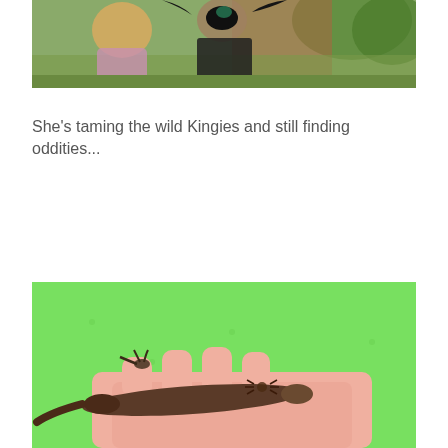[Figure (photo): Outdoor photo of a person with curly blonde hair and another person in black holding a dark bird with spread wings, near a brick wall and green plants in a garden setting]
She's taming the wild Kingies and still finding oddities...
[Figure (photo): Close-up photo of a hand holding a small brown skink/lizard against a bright green background, with what appears to be a small spider also visible]